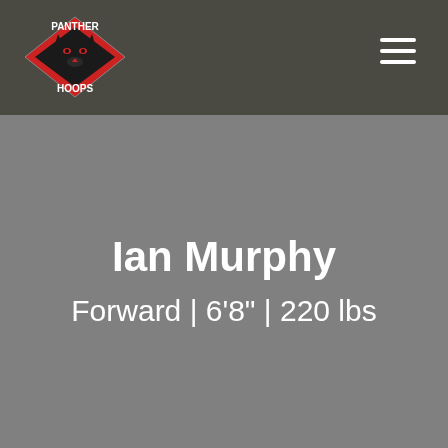[Figure (logo): Panther Hoops logo: diamond shape in red with a black panther head, text PANTHER above and HOOPS below in white]
≡
Ian Murphy
Forward | 6'8" | 220 lbs